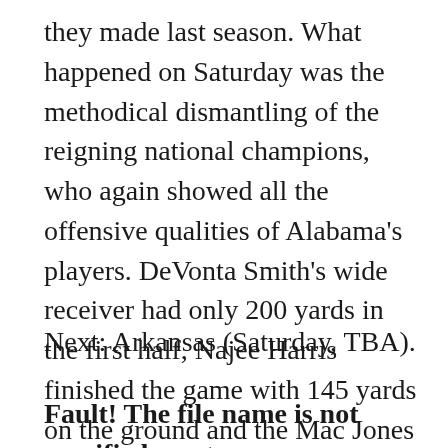they made last season. What happened on Saturday was the methodical dismantling of the reigning national champions, who again showed all the offensive qualities of Alabama's players. DeVonta Smith's wide receiver had only 200 yards in the first half, Najee Harris finished the game with 145 yards on the ground and the Mac Jones made it so easy at 385 yards and four points.
Next: Arkansas (Saturday, TBA).
Fault! The file name is not specified. – set